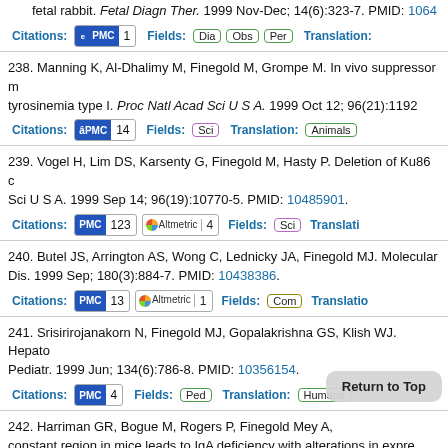237. [partial] ...fetal rabbit. Fetal Diagn Ther. 1999 Nov-Dec; 14(6):323-7. PMID: 1064... Citations: PMC 1 Fields: Dia Obs Per Translation: [cut off]
238. Manning K, Al-Dhalimy M, Finegold M, Grompe M. In vivo suppressor m... tyrosinemia type I. Proc Natl Acad Sci U S A. 1999 Oct 12; 96(21):1192... Citations: PMC 14 Fields: Sci Translation: Animals
239. Vogel H, Lim DS, Karsenty G, Finegold M, Hasty P. Deletion of Ku86 c... Sci U S A. 1999 Sep 14; 96(19):10770-5. PMID: 10485901. Citations: PMC 123 Altmetric 4 Fields: Sci Translation: [cut off]
240. Butel JS, Arrington AS, Wong C, Lednicky JA, Finegold MJ. Molecular... Dis. 1999 Sep; 180(3):884-7. PMID: 10438386. Citations: PMC 13 Altmetric 1 Fields: Com Translation: [cut off]
241. Srisirirojanakorn N, Finegold MJ, Gopalakrishna GS, Klish WJ. Hepato... Pediatr. 1999 Jun; 134(6):786-8. PMID: 10356154. Citations: PMC 4 Fields: Ped Translation: Humans
242. Harriman GR, Bogue M, Rogers P, Finegold M, ... y A, constant region in mice leads to IgA deficiency with alterations in expre... 163(5):3531-9. PMID: 10390... [partial]